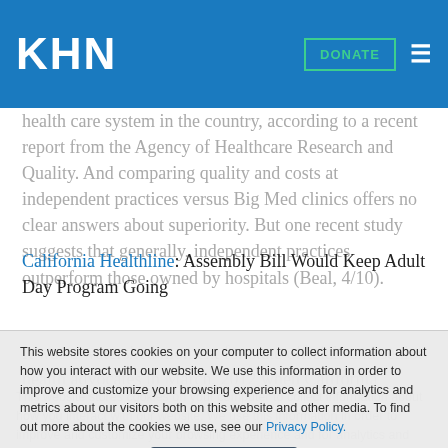KHN
health care system in the country, according to a recent report from the Agency of Healthcare Research and Quality. And comparing quality and costs at independent practices versus Big Med clinics offers no clear answers about superiority. But one recent study suggests that generally, independent practices outperform those owned by hospitals (Beal, 4/10).
California Healthline: Assembly Bill Would Keep Adult Day Program Going
It was a watershed moment for state officials and senior health advocates in March, 2012 when California launched the Community
This website stores cookies on your computer to collect information about how you interact with our website. We use this information in order to improve and customize your browsing experience and for analytics and metrics about our visitors both on this website and other media. To find out more about the cookies we use, see our Privacy Policy.